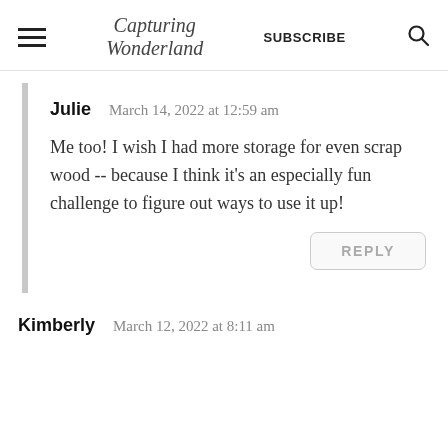Capturing Wonderland | SUBSCRIBE
Julie   March 14, 2022 at 12:59 am
Me too! I wish I had more storage for even scrap wood -- because I think it's an especially fun challenge to figure out ways to use it up!
REPLY
Kimberly   March 12, 2022 at 8:11 am